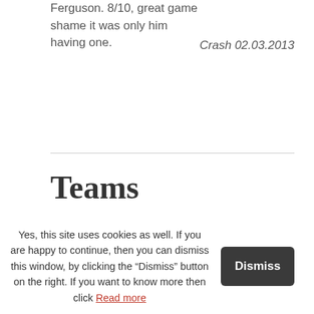Ferguson. 8/10, great game shame it was only him having one.
Crash 02.03.2013
Teams
Yes, this site uses cookies as well. If you are happy to continue, then you can dismiss this window, by clicking the “Dismiss” button on the right. If you want to know more then click Read more